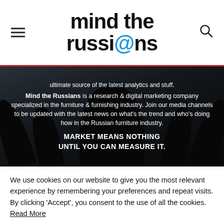mind the russi@ns
[Figure (photo): Hero banner with silhouetted figures raising arms, overlaid with white text about Mind the Russians company description and slogan]
ultimate source of the latest analytics and stuff. Mind the Russians is a research & digital marketing company specialized in the furniture & furnishing industry. Join our media channels to be updated with the latest news on what's the trend and who's doing how in the Russian furniture industry.
MARKET MEANS NOTHING
UNTIL YOU CAN MEASURE IT.
We use cookies on our website to give you the most relevant experience by remembering your preferences and repeat visits. By clicking 'Accept', you consent to the use of all the cookies. Read More
Cookie Settings    Accept